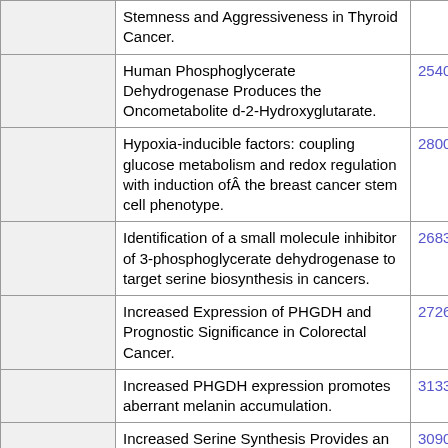|  | Title | PMID |
| --- | --- | --- |
|  | Stemness and Aggressiveness in Thyroid Cancer. |  |
|  | Human Phosphoglycerate Dehydrogenase Produces the Oncometabolite d-2-Hydroxyglutarate. | 25406093 |
|  | Hypoxia-inducible factors: coupling glucose metabolism and redox regulation with induction ofÂ the breast cancer stem cell phenotype. | 28007895 |
|  | Identification of a small molecule inhibitor of 3-phosphoglycerate dehydrogenase to target serine biosynthesis in cancers. | 26831078 |
|  | Increased Expression of PHGDH and Prognostic Significance in Colorectal Cancer. | 27267836 |
|  | Increased PHGDH expression promotes aberrant melanin accumulation. | 31331318 |
|  | Increased Serine Synthesis Provides an Advantage for Tumors Arising in Tissues Where Serine Levels Are Limiting. | 30905671 |
|  | Inhibiting phosphoglycerate dehydrogenase... | 33284994 |